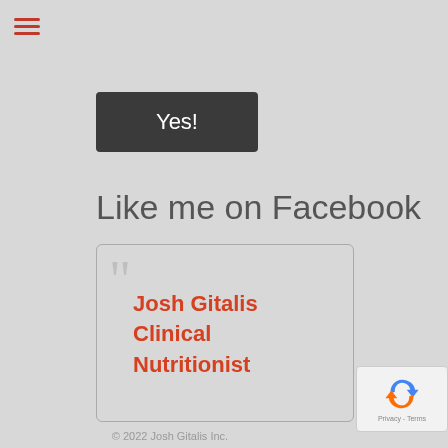[Figure (other): Hamburger menu icon with three horizontal orange/red lines]
Yes!
Like me on Facebook
[Figure (other): Facebook page card with large quotation mark and bold orange text reading: Josh Gitalis Clinical Nutritionist]
[Figure (other): reCAPTCHA badge with blue/red arrow logo and Privacy - Terms text]
© 2022 Josh Gitalis Inc.